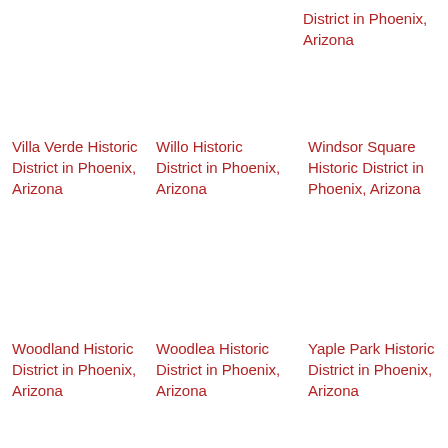District in Phoenix, Arizona
Villa Verde Historic District in Phoenix, Arizona
Willo Historic District in Phoenix, Arizona
Windsor Square Historic District in Phoenix, Arizona
Woodland Historic District in Phoenix, Arizona
Woodlea Historic District in Phoenix, Arizona
Yaple Park Historic District in Phoenix, Arizona
IDX Real Estate Websites by RealGeeks • Accessibility • Terms • Privacy
MoveTo
Find the home of your dreams.
Use App